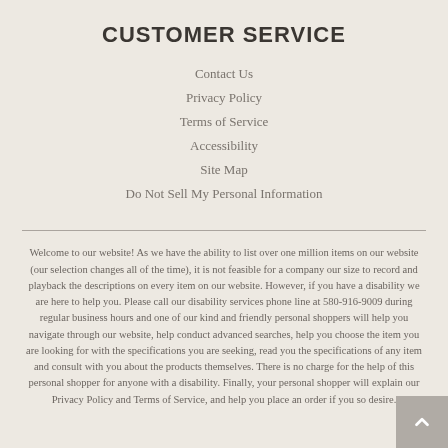CUSTOMER SERVICE
Contact Us
Privacy Policy
Terms of Service
Accessibility
Site Map
Do Not Sell My Personal Information
Welcome to our website! As we have the ability to list over one million items on our website (our selection changes all of the time), it is not feasible for a company our size to record and playback the descriptions on every item on our website. However, if you have a disability we are here to help you. Please call our disability services phone line at 580-916-9009 during regular business hours and one of our kind and friendly personal shoppers will help you navigate through our website, help conduct advanced searches, help you choose the item you are looking for with the specifications you are seeking, read you the specifications of any item and consult with you about the products themselves. There is no charge for the help of this personal shopper for anyone with a disability. Finally, your personal shopper will explain our Privacy Policy and Terms of Service, and help you place an order if you so desire.